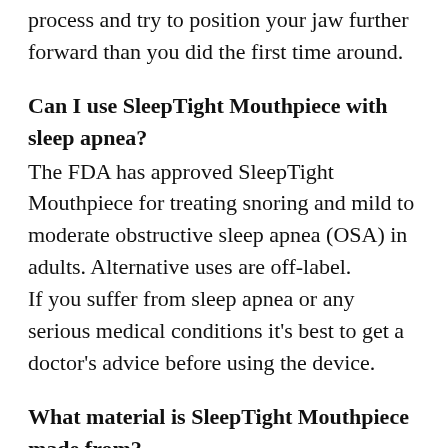process and try to position your jaw further forward than you did the first time around.
Can I use SleepTight Mouthpiece with sleep apnea?
The FDA has approved SleepTight Mouthpiece for treating snoring and mild to moderate obstructive sleep apnea (OSA) in adults. Alternative uses are off-label.
If you suffer from sleep apnea or any serious medical conditions it's best to get a doctor's advice before using the device.
What material is SleepTight Mouthpiece made from?
The entire mouthpiece is constructed from one material. It's a type of plastic called ethylene-